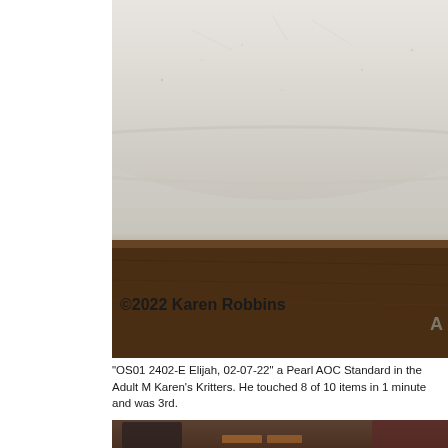[Figure (photo): Close-up photo of a light-colored curved surface (appears to be a hat brim or similar object) with a copyright watermark '©2022 Karen Robbins' in the lower left and partial text 'A' in the lower right. The surface transitions from white/grey at the top to dark brown wood-grain texture at the bottom.]
"OS01 2402-E Elijah, 02-07-22" a Pearl AOC Standard in the Adult M Karen's Kritters. He touched 8 of 10 items in 1 minute and was 3rd.
[Figure (photo): Photo of a white table surface with several objects on it including what appears to be an antler piece in the center, a brush-like object on the left, and a round wooden object on the right. The background shows a dark wood floor, chairs, and room interior.]